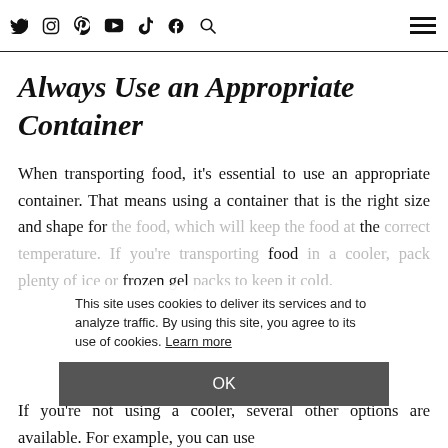Social media icons (Twitter, Instagram, Pinterest, YouTube, TikTok, Facebook, Search) and hamburger menu
Always Use an Appropriate Container
When transporting food, it's essential to use an appropriate container. That means using a container that is the right size and shape for the food, which will keep the food at the correct temperature. If you're transporting food in a cooler, pack plenty of ice or frozen gel packs to keep it cold.
This site uses cookies to deliver its services and to analyze traffic. By using this site, you agree to its use of cookies. Learn more
OK
If you're not using a cooler, several other options are available. For example, you can use